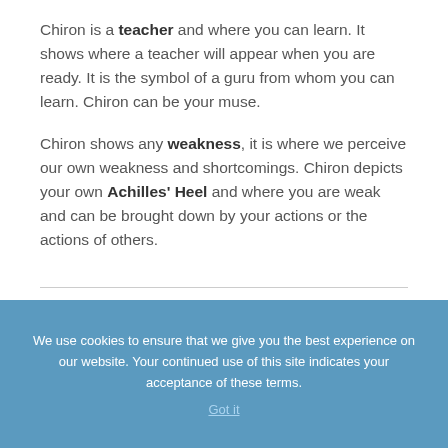Chiron is a teacher and where you can learn. It shows where a teacher will appear when you are ready. It is the symbol of a guru from whom you can learn. Chiron can be your muse.
Chiron shows any weakness, it is where we perceive our own weakness and shortcomings. Chiron depicts your own Achilles' Heel and where you are weak and can be brought down by your actions or the actions of others.
We use cookies to ensure that we give you the best experience on our website. Your continued use of this site indicates your acceptance of these terms.